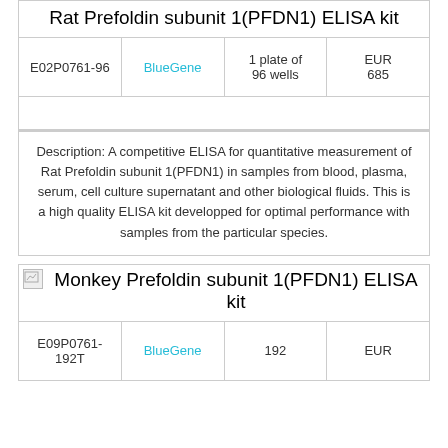Rat Prefoldin subunit 1(PFDN1) ELISA kit
| E02P0761-96 | BlueGene | 1 plate of 96 wells | EUR 685 |
| --- | --- | --- | --- |
Description: A competitive ELISA for quantitative measurement of Rat Prefoldin subunit 1(PFDN1) in samples from blood, plasma, serum, cell culture supernatant and other biological fluids. This is a high quality ELISA kit developped for optimal performance with samples from the particular species.
Monkey Prefoldin subunit 1(PFDN1) ELISA kit
| E09P0761-192T | BlueGene | 192 | EUR |
| --- | --- | --- | --- |